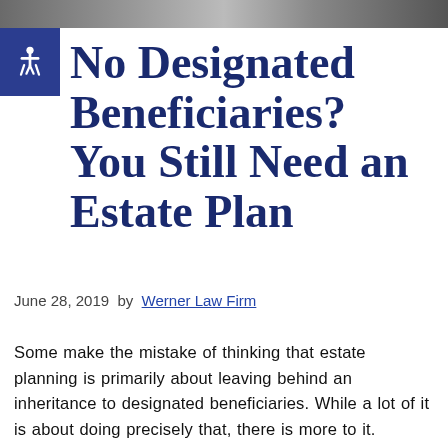[Figure (photo): Partial photo strip at top of page, appears to show people in a natural or outdoor setting, cropped tightly.]
No Designated Beneficiaries? You Still Need an Estate Plan
June 28, 2019 by Werner Law Firm
Some make the mistake of thinking that estate planning is primarily about leaving behind an inheritance to designated beneficiaries. While a lot of it is about doing precisely that, there is more to it.